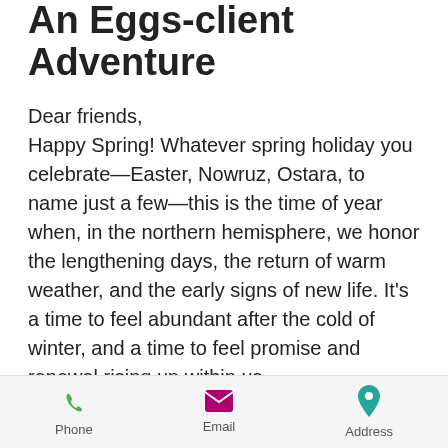An Eggs-client Adventure
Dear friends,
Happy Spring! Whatever spring holiday you celebrate—Easter, Nowruz, Ostara, to name just a few—this is the time of year when, in the northern hemisphere, we honor the lengthening days, the return of warm weather, and the early signs of new life. It's a time to feel abundant after the cold of winter, and a time to feel promise and renewal rising up within us.
On the farm where I live, this time of year means baby animals—rabbits, birds,
Phone   Email   Address